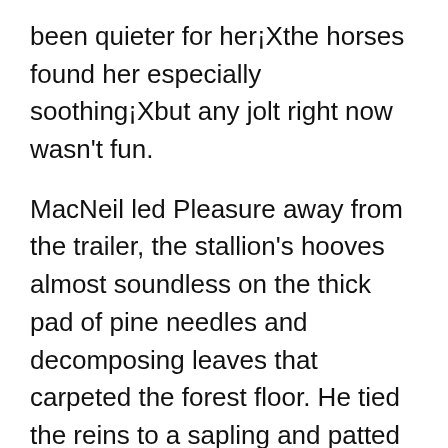been quieter for her¡Xthe horses found her especially soothing¡Xbut any jolt right now wasn't fun.
MacNeil led Pleasure away from the trailer, the stallion's hooves almost soundless on the thick pad of pine needles and decomposing leaves that carpeted the forest floor. He tied the reins to a sapling and patted the animal's glossy neck. "Okay, you can come over now," he called to Maris. "Keep him happy while I reposition the trailer."
She took control of the stallion, calming him with her voice and hands. He was still hungry